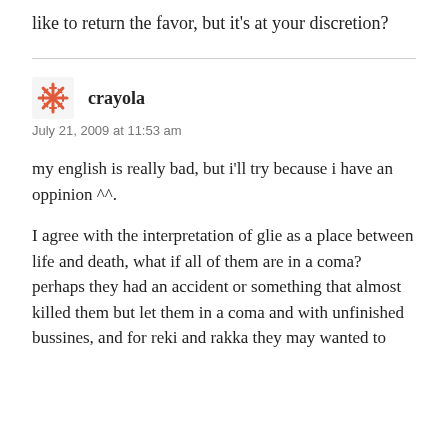like to return the favor, but it’s at your discretion?
crayola
July 21, 2009 at 11:53 am
my english is really bad, but i’ll try because i have an oppinion ^^.
I agree with the interpretation of glie as a place between life and death, what if all of them are in a coma? perhaps they had an accident or something that almost killed them but let them in a coma and with unfinished bussines, and for reki and rakka they may wanted to